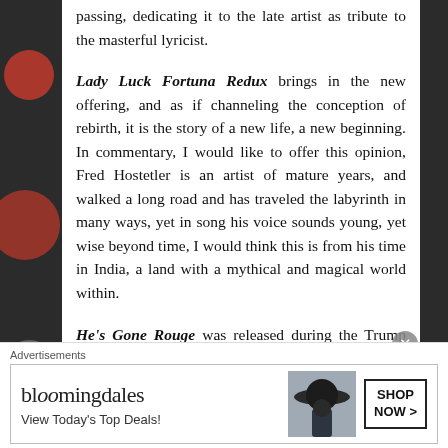passing, dedicating it to the late artist as tribute to the masterful lyricist.
Lady Luck Fortuna Redux brings in the new offering, and as if channeling the conception of rebirth, it is the story of a new life, a new beginning. In commentary, I would like to offer this opinion, Fred Hostetler is an artist of mature years, and walked a long road and has traveled the labyrinth in many ways, yet in song his voice sounds young, yet wise beyond time, I would think this is from his time in India, a land with a mythical and magical world within.
He's Gone Rouge was released during the Trump presidency, a true political piece, Fred voicing his interpretation of the madness of the 4 terrifying years with the would-be dictator 45 (These are not Fred
Advertisements
[Figure (other): Bloomingdale's advertisement banner with logo, tagline 'View Today's Top Deals!', image of woman with wide-brim hat, and 'SHOP NOW >' button.]